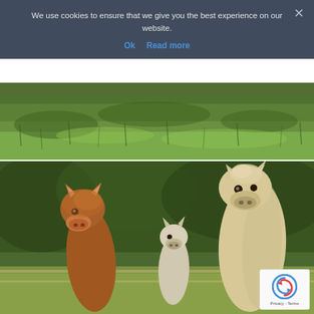We use cookies to ensure that we give you the best experience on our website.
Ok   Read more
[Figure (photo): Photo of green grassy field/hillside, cropped to show mostly grass]
[Figure (photo): Photo of three alpacas facing the camera: a brown/reddish one on the left, a smaller white/cream one in the middle background, and a tall cream/beige one on the right, with trees and a fence in the background]